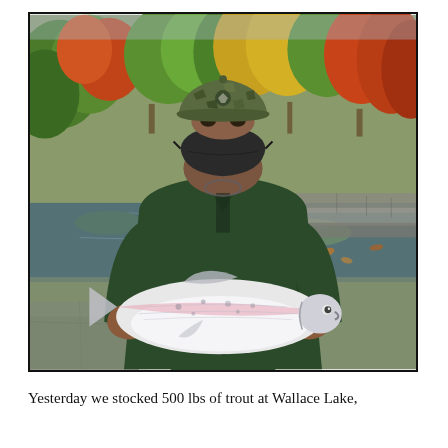[Figure (photo): A person wearing a camouflage cap and black face mask, dressed in a dark green rain jacket, holding a large rainbow trout with both hands. They are standing near a pond or lake with stepping stones visible behind them. The background shows autumn foliage with trees displaying orange, yellow, and red leaves reflected in the calm water.]
Yesterday we stocked 500 lbs of trout at Wallace Lake,